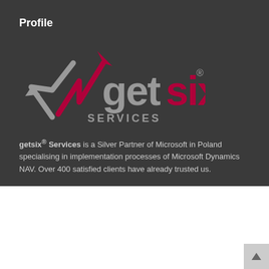Profile
[Figure (logo): getsix Services logo with arrow symbols and brand name in grey and pink/crimson colors]
getsix® Services is a Silver Partner of Microsoft in Poland specialising in implementation processes of Microsoft Dynamics NAV. Over 400 satisfied clients have already trusted us.
This website uses cookies to improve your experience. We'll assume you're ok with this, but you can opt-out if you wish.
Accept  Read More